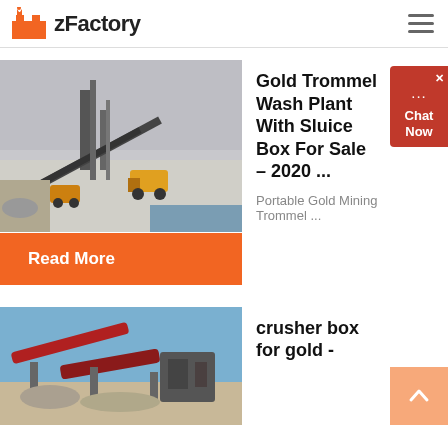zFactory
[Figure (photo): Aerial/ground view of a mining or quarrying site with heavy machinery, conveyor belts, and dump trucks in a snowy/dusty industrial environment.]
Gold Trommel Wash Plant With Sluice Box For Sale – 2020 ...
Portable Gold Mining Trommel ...
Read More
[Figure (photo): Industrial conveyor belt and crusher equipment on a construction or mining site with blue sky background.]
crusher box for gold -